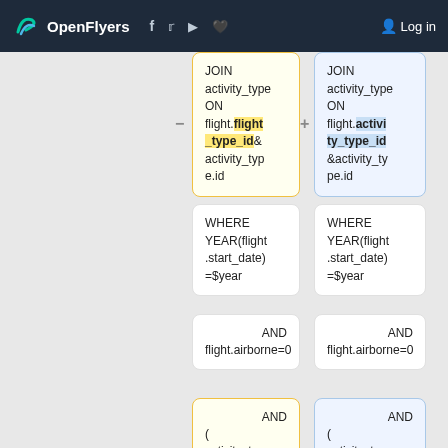OpenFlyers  Log in
[Figure (screenshot): Two-column comparison of SQL query fragments in card boxes: JOIN activity_type ON flight.flight_type_id & activity_type.id (yellow highlight on flight_type_id) vs JOIN activity_type ON flight.activity_type_id &activity_type.id (blue highlight on activity_type_id), followed by WHERE YEAR(flight.start_date)=$year cards, AND flight.airborne=0 cards, and AND ( activity_type.id IN cards.]